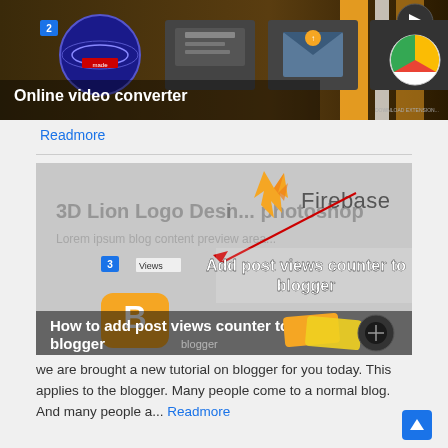[Figure (screenshot): Screenshot thumbnail showing online video converter interface with app icons and badge number 2]
Readmore
[Figure (screenshot): Screenshot thumbnail showing Firebase and blogger post views counter tutorial with badge number 3, text: Add post views counter to blogger, How to add post views counter to blogger]
we are brought a new tutorial on blogger for you today. This applies to the blogger. Many people come to a normal blog. And many people a... Readmore